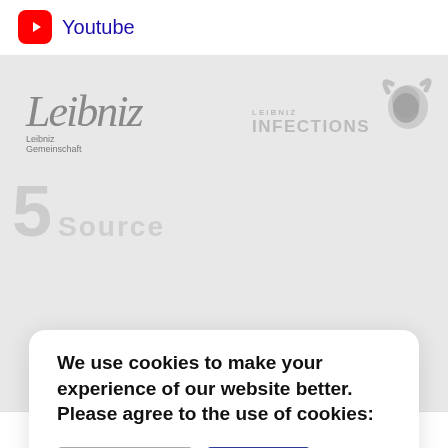[Figure (logo): YouTube icon (red rounded rectangle with white play button) and 'Youtube' text in blue]
[Figure (logo): Leibniz Gemeinschaft logo in grey with italic script and text]
[Figure (logo): Leibniz Infections logo with bull/head icon in grey]
We use cookies to make your experience of our website better. Please agree to the use of cookies:
Edit settings
Agree
Read more
Imprint   Privacy Statement   Prices   Links